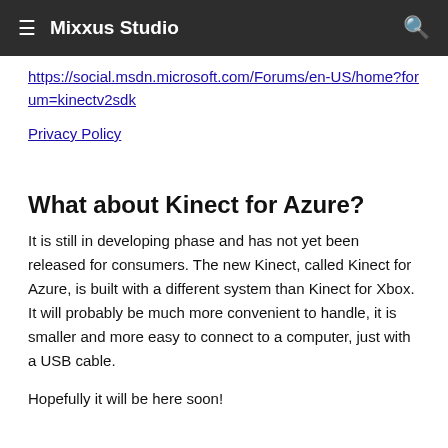Mixxus Studio
https://social.msdn.microsoft.com/Forums/en-US/home?forum=kinectv2sdk
Privacy Policy
What about Kinect for Azure?
It is still in developing phase and has not yet been released for consumers. The new Kinect, called Kinect for Azure, is built with a different system than Kinect for Xbox. It will probably be much more convenient to handle, it is smaller and more easy to connect to a computer, just with a USB cable.
Hopefully it will be here soon!